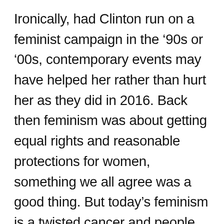Ironically, had Clinton run on a feminist campaign in the '90s or '00s, contemporary events may have helped her rather than hurt her as they did in 2016. Back then feminism was about getting equal rights and reasonable protections for women, something we all agree was a good thing. But today's feminism is a twisted cancer and people who support women's rights can find themselves at odds with current feminist practices. People like me. In the 1990s, the ugly side of feminist overreach had not yet revealed itself to the country, whereas in 2016, large swaths of the US were feeling the dissonance of new feminist thinking. Clinton, being a decade or two late, failed to see how adopting a feminist